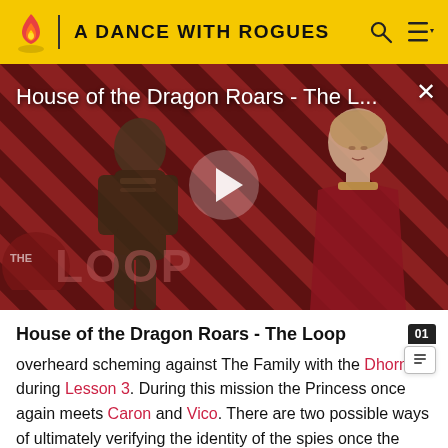A DANCE WITH ROGUES
[Figure (screenshot): Video thumbnail for 'House of the Dragon Roars - The L...' showing two characters from House of the Dragon on a diagonal stripe red and dark pattern background with THE LOOP logo, a play button in center, and a close X button top right]
House of the Dragon Roars - The Loop
overheard scheming against The Family with the Dhorn during Lesson 3. During this mission the Princess once again meets Caron and Vico. There are two possible ways of ultimately verifying the identity of the spies once the